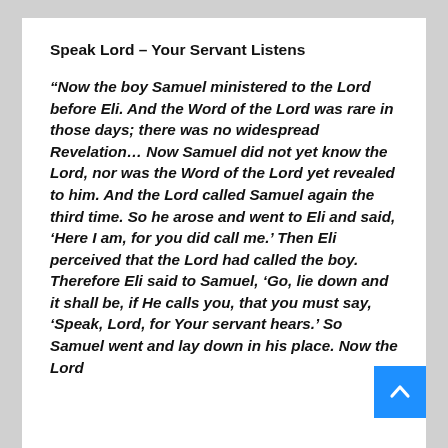Speak Lord – Your Servant Listens
“Now the boy Samuel ministered to the Lord before Eli. And the Word of the Lord was rare in those days; there was no widespread Revelation… Now Samuel did not yet know the Lord, nor was the Word of the Lord yet revealed to him. And the Lord called Samuel again the third time. So he arose and went to Eli and said, ‘Here I am, for you did call me.’ Then Eli perceived that the Lord had called the boy. Therefore Eli said to Samuel, ‘Go, lie down and it shall be, if He calls you, that you must say, ‘Speak, Lord, for Your servant hears.’ So Samuel went and lay down in his place. Now the Lord